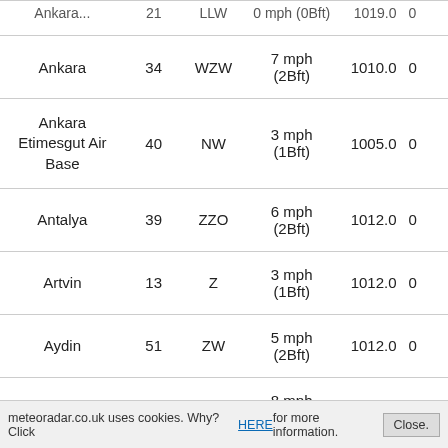| Name | Num | Dir | Wind | Pressure |  |
| --- | --- | --- | --- | --- | --- |
| Ankara | 34 | WZW | 7 mph (2Bft) | 1010.0 | 0 |
| Ankara Etimesgut Air Base | 40 | NW | 3 mph (1Bft) | 1005.0 | 0 |
| Antalya | 39 | ZZO | 6 mph (2Bft) | 1012.0 | 0 |
| Artvin | 13 | Z | 3 mph (1Bft) | 1012.0 | 0 |
| Aydin | 51 | ZW | 5 mph (2Bft) | 1012.0 | 0 |
| Ayvalik | 54 | WNW | 8 mph (3Bft) | 1013.0 | 0 |
| Balikesir | 54 | N | 2 mph (1Bft) | 1013.0 | 0 |
meteoradar.co.uk uses cookies. Why? Click HERE for more information. Close.